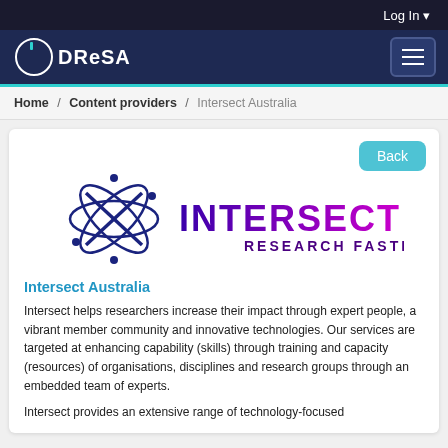Log In
[Figure (logo): DReSA logo in white on dark navy navigation bar with hamburger menu icon]
Home / Content providers / Intersect Australia
Back
[Figure (logo): Intersect Australia logo with atomic/orbital graphic and INTERSECT RESEARCH FASTER text in purple]
Intersect Australia
Intersect helps researchers increase their impact through expert people, a vibrant member community and innovative technologies. Our services are targeted at enhancing capability (skills) through training and capacity (resources) of organisations, disciplines and research groups through an embedded team of experts.
Intersect provides an extensive range of technology-focused